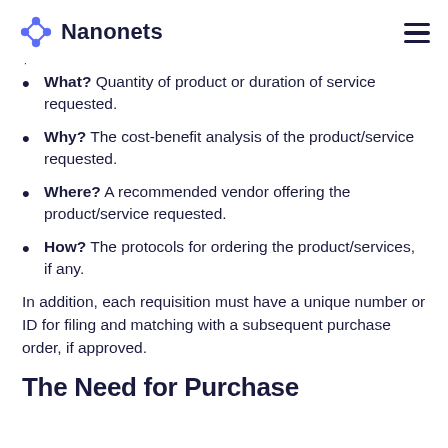Nanonets
What? Quantity of product or duration of service requested.
Why? The cost-benefit analysis of the product/service requested.
Where? A recommended vendor offering the product/service requested.
How? The protocols for ordering the product/services, if any.
In addition, each requisition must have a unique number or ID for filing and matching with a subsequent purchase order, if approved.
The Need for Purchase